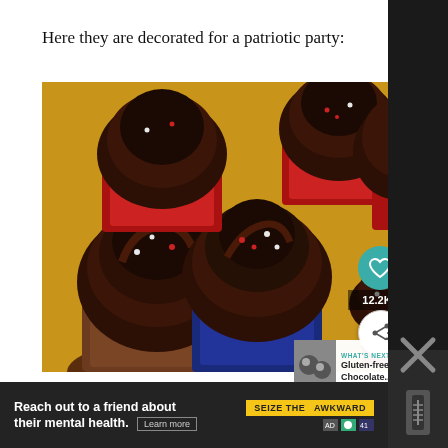Here they are decorated for a patriotic party:
[Figure (photo): Close-up photo of chocolate frosted cupcakes in red and blue cupcake liners with red and white sprinkles, decorated for a patriotic party. Social sharing overlay with heart icon (12.2K likes) and share button visible on the right side. A 'What's Next' panel in the bottom right shows a thumbnail and text reading 'Gluten-free Chocolate...']
[Figure (infographic): Advertisement banner: 'Reach out to a friend about their mental health. Learn more' with 'SEIZE THE AWKWARD' badge in yellow/black.]